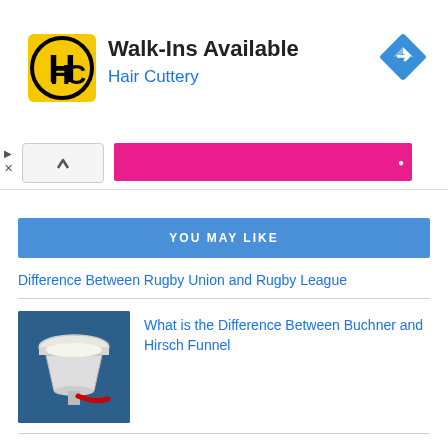[Figure (logo): Hair Cuttery advertisement banner with HC logo, 'Walk-Ins Available' title, blue subtitle 'Hair Cuttery', and a blue navigation diamond icon]
YOU MAY LIKE
Difference Between Rugby Union and Rugby League
[Figure (photo): Photo of a Buchner funnel laboratory equipment on blue background]
What is the Difference Between Buchner and Hirsch Funnel
Difference Between Swan and Duck